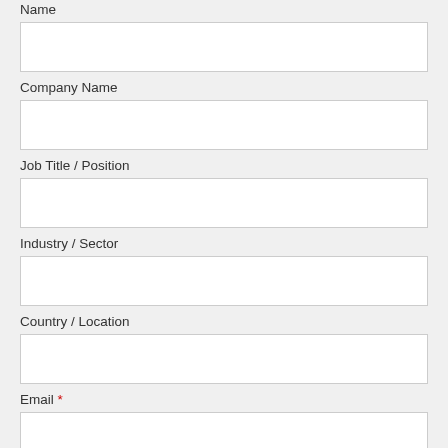Name
Company Name
Job Title / Position
Industry / Sector
Country / Location
Email *
Contact Number